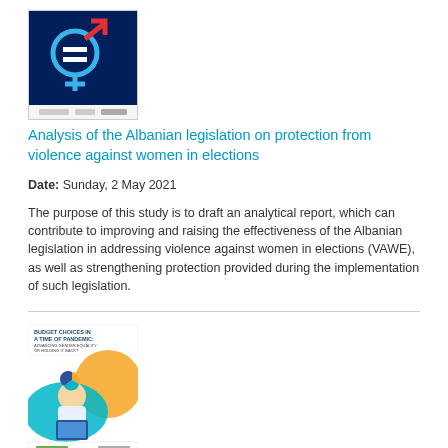[Figure (illustration): Book cover with dark blue background showing gender equality symbols (male and female combined with equals sign), with logos at bottom]
Analysis of the Albanian legislation on protection from violence against women in elections
Date: Sunday, 2 May 2021
The purpose of this study is to draft an analytical report, which can contribute to improving and raising the effectiveness of the Albanian legislation in addressing violence against women in elections (VAWE), as well as strengthening protection provided during the implementation of such legislation.
[Figure (illustration): Book cover titled 'Budget choices in a time of pandemic: Advancing gender equality or holding it back?' showing a woman working on a laptop with teal and orange background]
Budget choices in a time of pandemic: Advancing gender equality or holding it back?